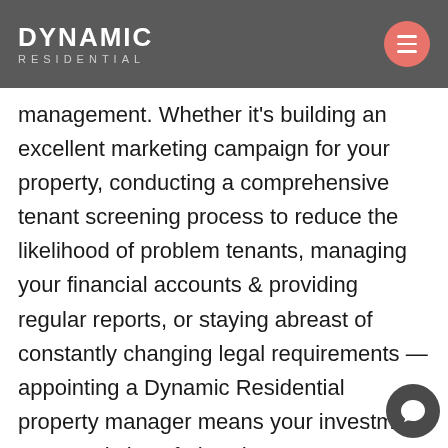DYNAMIC RESIDENTIAL
management. Whether it's building an excellent marketing campaign for your property, conducting a comprehensive tenant screening process to reduce the likelihood of problem tenants, managing your financial accounts & providing regular reports, or staying abreast of constantly changing legal requirements — appointing a Dynamic Residential property manager means your investment property is in safe hands.

Our years of expertise in property & investment management means you'll be